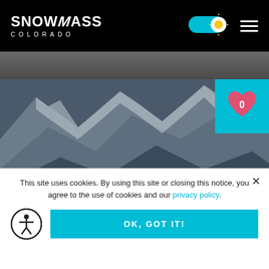SNOWMASS COLORADO
[Figure (screenshot): Dark mountain/snow textured image strip at top below nav]
[Figure (photo): United Airlines plane flying over snowy mountain terrain with FLYING TO text overlay at bottom]
This site uses cookies. By using this site or closing this notice, you agree to the use of cookies and our privacy policy.
OK, GOT IT!